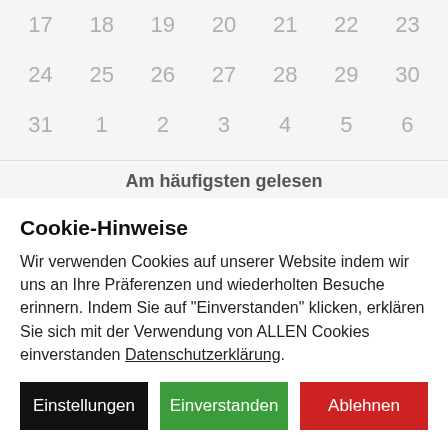[Figure (other): Partial calendar grid showing rows for dates 17-23, 24-30, and 31 and 1-6 (greyed out, next month). Background is light grey.]
Am häufigsten gelesen
Cookie-Hinweise
Wir verwenden Cookies auf unserer Website indem wir uns an Ihre Präferenzen und wiederholten Besuche erinnern. Indem Sie auf "Einverstanden" klicken, erklären Sie sich mit der Verwendung von ALLEN Cookies einverstanden Datenschutzerklärung.